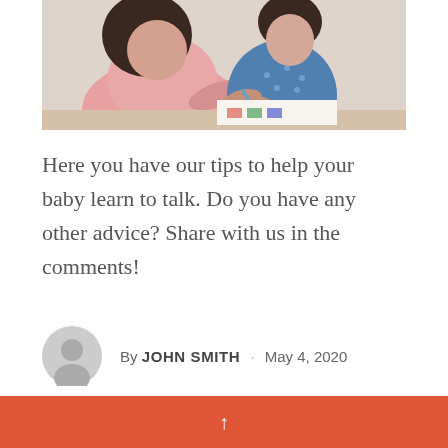[Figure (photo): A woman and a child sitting together, both looking down at a colorful worksheet or drawing on a table. The woman is wearing a pink top and the child is in a denim blue shirt with dots. The photo is cropped at the top.]
Here you have our tips to help your baby learn to talk. Do you have any other advice? Share with us in the comments!
By JOHN SMITH · May 4, 2020
↑